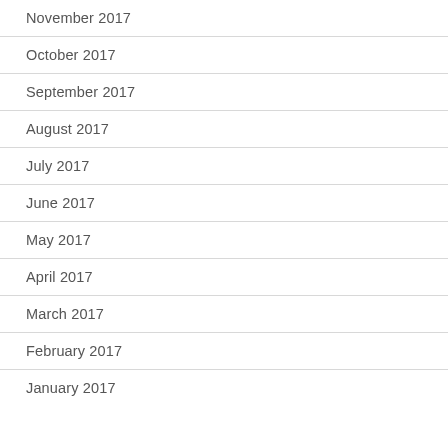November 2017
October 2017
September 2017
August 2017
July 2017
June 2017
May 2017
April 2017
March 2017
February 2017
January 2017